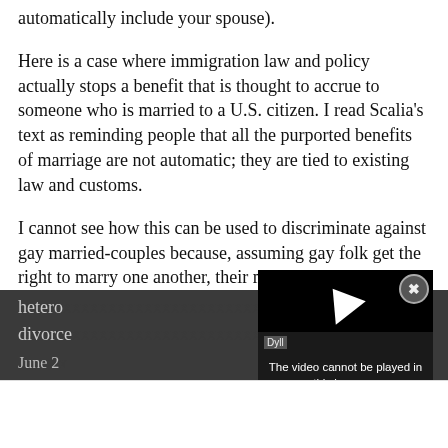automatically include your spouse).
Here is a case where immigration law and policy actually stops a benefit that is thought to accrue to someone who is married to a U.S. citizen. I read Scalia's text as reminding people that all the purported benefits of marriage are not automatic; they are tied to existing law and customs.
I cannot see how this can be used to discriminate against gay married-couples because, assuming gay folk get the right to marry one another, their marriages will have to be treated the same as are hetero[...] e gay divorce[...]
[Figure (screenshot): Video player overlay showing error message: The video cannot be played in this browser. (Error Code: 242632)]
June 2[...]
lykeitiz[...]
@JackT: @DarkZephyr: I really hope we win marriage